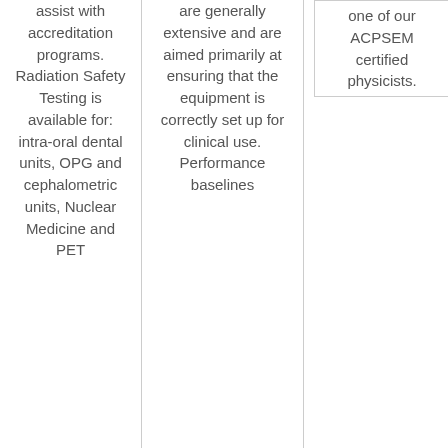assist with accreditation programs. Radiation Safety Testing is available for: intra-oral dental units, OPG and cephalometric units, Nuclear Medicine and PET
are generally extensive and are aimed primarily at ensuring that the equipment is correctly set up for clinical use. Performance baselines
one of our ACPSEM certified physicists.